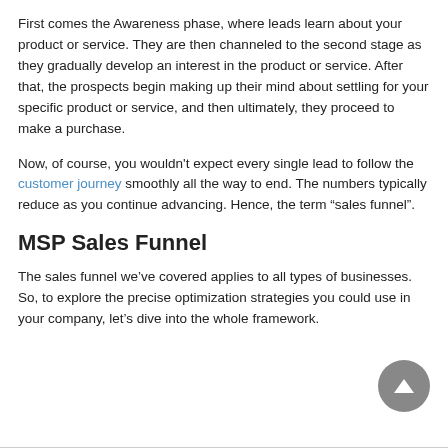First comes the Awareness phase, where leads learn about your product or service. They are then channeled to the second stage as they gradually develop an interest in the product or service. After that, the prospects begin making up their mind about settling for your specific product or service, and then ultimately, they proceed to make a purchase.
Now, of course, you wouldn't expect every single lead to follow the customer journey smoothly all the way to end. The numbers typically reduce as you continue advancing. Hence, the term “sales funnel”.
MSP Sales Funnel
The sales funnel we’ve covered applies to all types of businesses. So, to explore the precise optimization strategies you could use in your company, let’s dive into the whole framework.